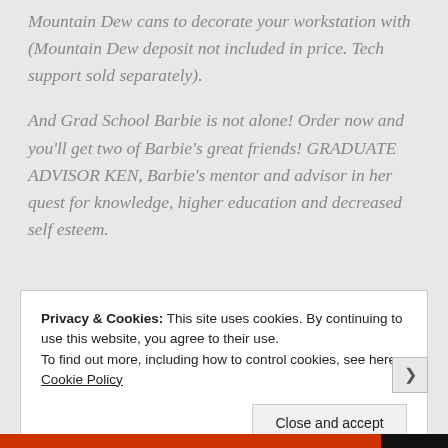Mountain Dew cans to decorate your workstation with (Mountain Dew deposit not included in price. Tech support sold separately).
And Grad School Barbie is not alone! Order now and you'll get two of Barbie's great friends! GRADUATE ADVISOR KEN, Barbie's mentor and advisor in her quest for knowledge, higher education and decreased self esteem.
Privacy & Cookies: This site uses cookies. By continuing to use this website, you agree to their use.
To find out more, including how to control cookies, see here: Cookie Policy